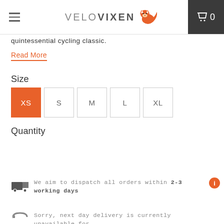VELOVIXEN | 0
quintessential cycling classic.
Read More
Size
XS S M L XL
Quantity
1
We aim to dispatch all orders within 2-3 working days
Sorry, next day delivery is currently unavailable for